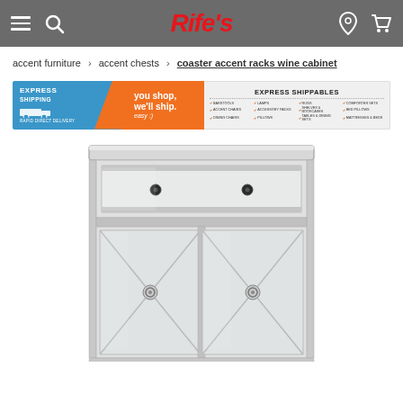Rife's — navigation bar with menu, search, logo, location, and cart icons
accent furniture › accent chests › coaster accent racks wine cabinet
[Figure (infographic): Express Shippables banner: 'EXPRESS SHIPPING — RAPID DIRECT DELIVERY / you shop. we'll ship. easy :)' with a list of categories including barstools, accent chairs, dining chairs, lamps, accessory packs, pillows, rugs, shelves & bookcases, tables & dining sets, comforter sets, bed pillows, mattresses & beds]
[Figure (photo): Mirrored accent wine cabinet with silver/chrome frame, one drawer with two black knobs on top, and two cabinet doors below with X-pattern mirror inlay and ring pulls]